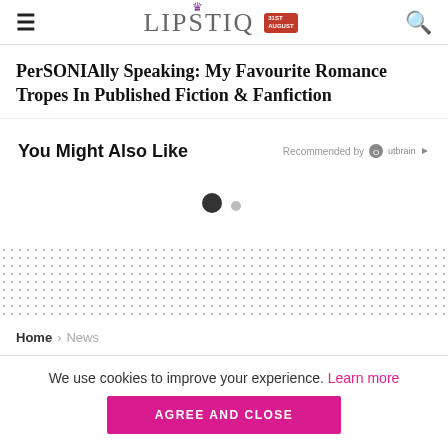LIPSTIQ
PerSONIAlly Speaking: My Favourite Romance Tropes In Published Fiction & Fanfiction
You Might Also Like  Recommended by Outbrain
Home > News
We use cookies to improve your experience. Learn more  AGREE AND CLOSE